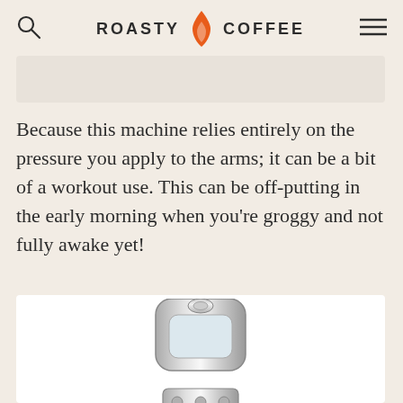ROASTY COFFEE
Because this machine relies entirely on the pressure you apply to the arms; it can be a bit of a workout use. This can be off-putting in the early morning when you're groggy and not fully awake yet!
[Figure (photo): Partial view of a chrome/silver espresso or coffee machine top, showing mechanical components]